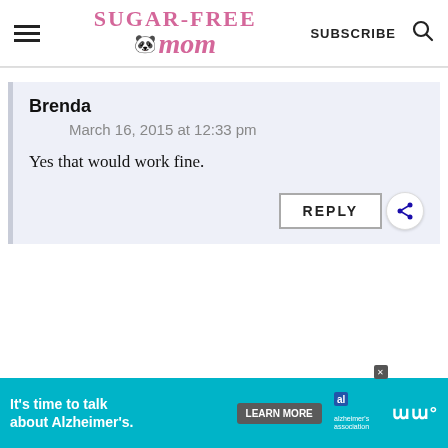Sugar-Free Mom | SUBSCRIBE
Brenda
March 16, 2015 at 12:33 pm
Yes that would work fine.
[Figure (screenshot): Ad banner: It's time to talk about Alzheimer's. LEARN MORE button with Alzheimer's Association logo.]